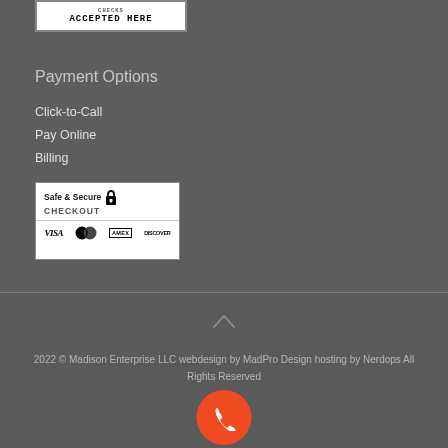[Figure (other): Badge image with text 'ACCEPTED HERE' in stamp/seal style]
Payment Options
Click-to-Call
Pay Online
Billing
[Figure (other): Safe & Secure Checkout badge with padlock icon and credit card logos: VISA, Mastercard, AMEX, DISCOVER]
2022 © Madison Enterprise LLC webdesign by MadPro Design hosting by Nerdops All Rights Reserved